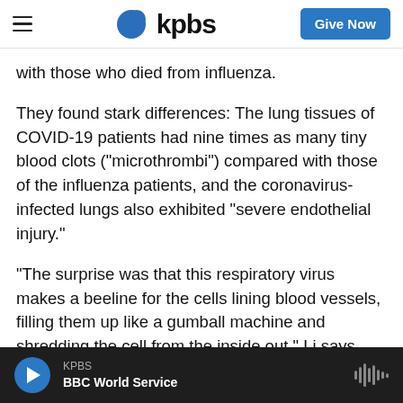KPBS — Give Now
with those who died from influenza.
They found stark differences: The lung tissues of COVID-19 patients had nine times as many tiny blood clots ("microthrombi") compared with those of the influenza patients, and the coronavirus-infected lungs also exhibited "severe endothelial injury."
"The surprise was that this respiratory virus makes a beeline for the cells lining blood vessels, filling them up like a gumball machine and shredding the cell from the inside out," Li says. "We found blood
KPBS — BBC World Service